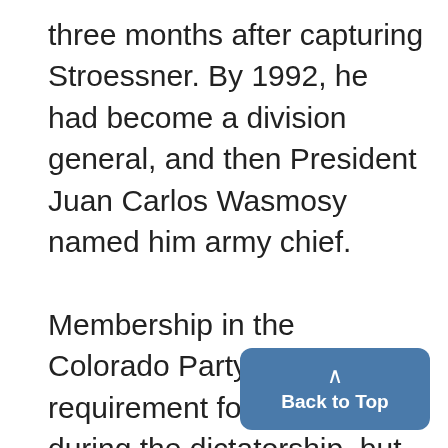three months after capturing Stroessner. By 1992, he had become a division general, and then President Juan Carlos Wasmosy named him army chief. Membership in the Colorado Party had been a requirement for any officer during the dictatorship, but Oviedo's constant involvement in party politics generated frictions with the president. In April 1996, a short-lived